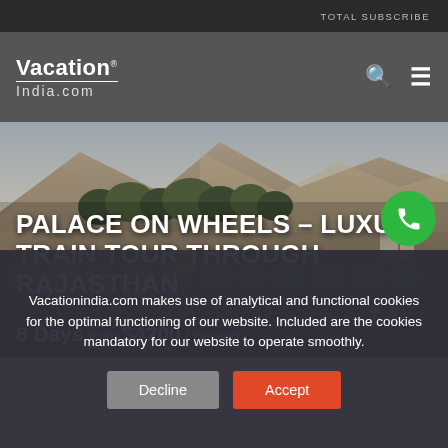VacationIndia.com
[Figure (photo): Aerial/ground-level photo of Palace on Wheels luxury train passing through a Rajasthan railway station with rocky hills and trees in background]
PALACE ON WHEELS – LUXURY TRAIN TOUR THROUGH RAJASTHAN
8 Days from $4200 / person
Vacationindia.com makes use of analytical and functional cookies for the optimal functioning of our website. Included are the cookies mandatory for our website to operate smoothly.